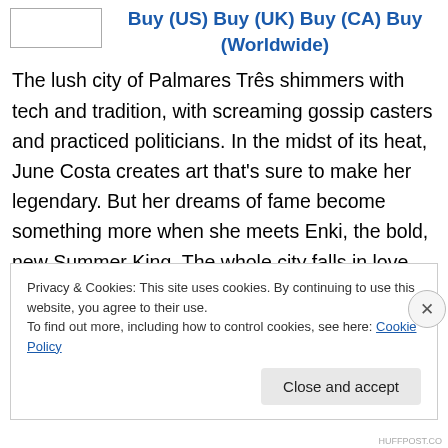[Figure (other): Book thumbnail placeholder image (white rectangle with border)]
Buy (US) Buy (UK) Buy (CA) Buy (Worldwide)
The lush city of Palmares Três shimmers with tech and tradition, with screaming gossip casters and practiced politicians. In the midst of its heat, June Costa creates art that's sure to make her legendary. But her dreams of fame become something more when she meets Enki, the bold, new Summer King. The whole city falls in love with him (including June's best friend, Gil). But June sees more to Enki than dark chocolate eyes and a lethal samba. She sees a fellow artist. Together, June and Enki will create art
Privacy & Cookies: This site uses cookies. By continuing to use this website, you agree to their use.
To find out more, including how to control cookies, see here: Cookie Policy
Close and accept